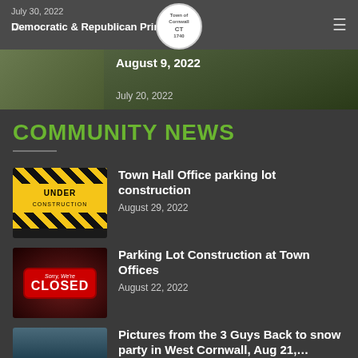Town of Cornwall, CT — July 30, 2022 — Democratic & Republican Primary – August 9, 2022 / July 20, 2022
COMMUNITY NEWS
Town Hall Office parking lot construction — August 29, 2022
Parking Lot Construction at Town Offices — August 22, 2022
Pictures from the 3 Guys Back to snow party in West Cornwall, Aug 21,… — August 21, 2022
Summer Music Fest & Taste of … (partial)